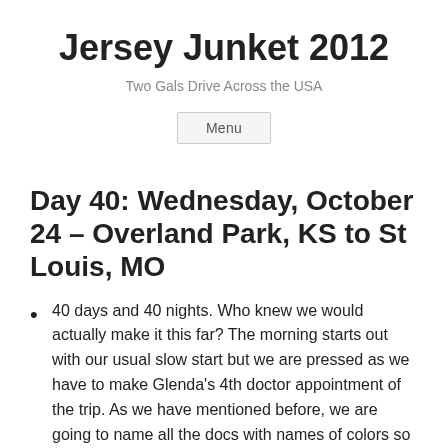Jersey Junket 2012
Two Gals Drive Across the USA
Menu
Day 40: Wednesday, October 24 – Overland Park, KS to St Louis, MO
40 days and 40 nights. Who knew we would actually make it this far?  The morning starts out with our usual slow start but we are pressed as we have to make Glenda's 4th doctor appointment of the trip.  As we have mentioned before, we are going to name all the docs with names of colors so this one, Dr. Firestone, is Dr. Red.  Nema takes the patient, Glenda, to the doc while Sue wanders around KC Plaza, a shopping center